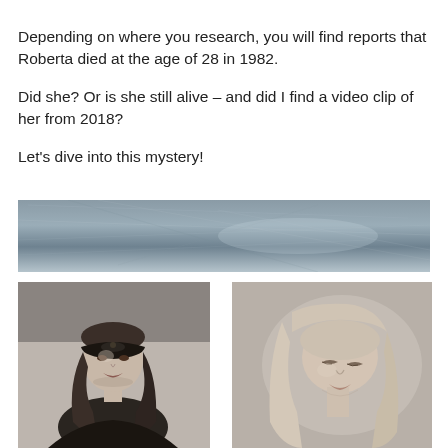Depending on where you research, you will find reports that Roberta died at the age of 28 in 1982.
Did she? Or is she still alive – and did I find a video clip of her from 2018?
Let’s dive into this mystery!
[Figure (photo): A scratched metal surface / horizontal band photo]
[Figure (photo): Black and white photo of a young woman wearing a bandana/headband]
[Figure (photo): Black and white photo of a young woman with long hair looking down]